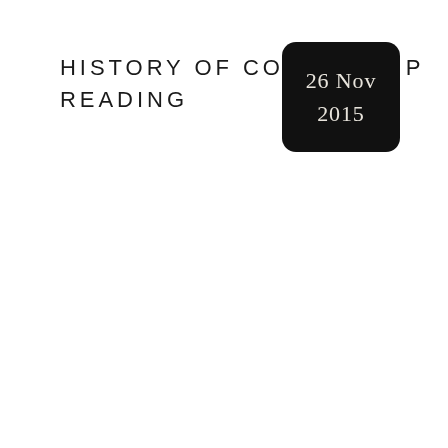HISTORY OF COFFEE CUP READING
26 Nov 2015